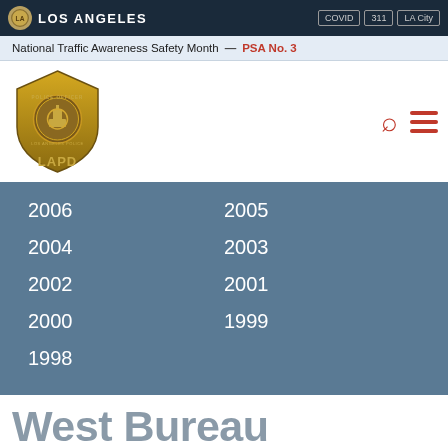LOS ANGELES | COVID | 311 | LA City
National Traffic Awareness Safety Month — PSA No. 3
[Figure (logo): LAPD badge logo with police officer emblem and LAPD text]
2006
2005
2004
2003
2002
2001
2000
1999
1998
West Bureau Sobriety Checkpoint